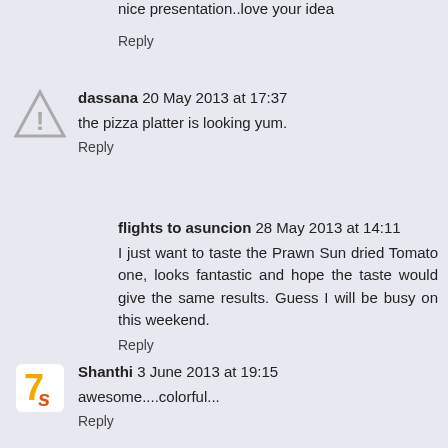nice presentation..love your idea
Reply
dassana 20 May 2013 at 17:37
the pizza platter is looking yum.
Reply
flights to asuncion 28 May 2013 at 14:11
I just want to taste the Prawn Sun dried Tomato one, looks fantastic and hope the taste would give the same results. Guess I will be busy on this weekend.
Reply
Shanthi 3 June 2013 at 19:15
awesome....colorful...
Reply